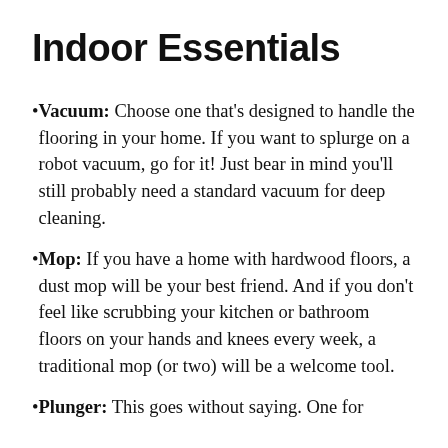Indoor Essentials
Vacuum: Choose one that's designed to handle the flooring in your home. If you want to splurge on a robot vacuum, go for it! Just bear in mind you'll still probably need a standard vacuum for deep cleaning.
Mop: If you have a home with hardwood floors, a dust mop will be your best friend. And if you don't feel like scrubbing your kitchen or bathroom floors on your hands and knees every week, a traditional mop (or two) will be a welcome tool.
Plunger: This goes without saying. One for